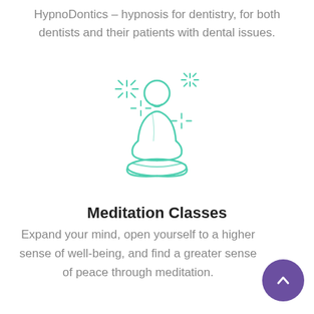HypnoDontics – hypnosis for dentistry, for both dentists and their patients with dental issues.
[Figure (illustration): Teal/green line-art illustration of a person sitting in a lotus meditation pose with sparkle/star symbols around them]
Meditation Classes
Expand your mind, open yourself to a higher sense of well-being, and find a greater sense of peace through meditation.